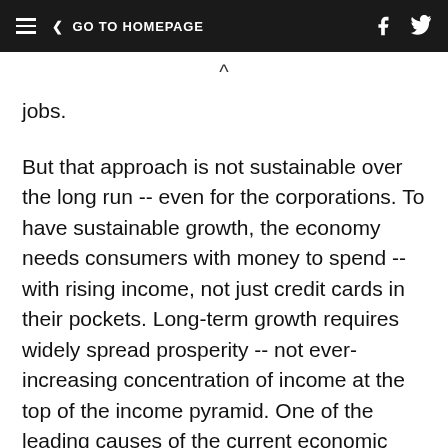≡  < GO TO HOMEPAGE
jobs.
But that approach is not sustainable over the long run -- even for the corporations. To have sustainable growth, the economy needs consumers with money to spend -- with rising income, not just credit cards in their pockets. Long-term growth requires widely spread prosperity -- not ever-increasing concentration of income at the top of the income pyramid. One of the leading causes of the current economic disaster was the transfer of income from average middle class...